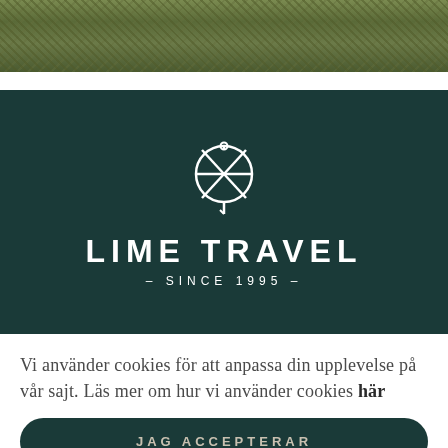[Figure (photo): Aerial or close-up photo of dense green vegetation/moss, shown as a strip at the top of the page]
[Figure (logo): Lime Travel logo: circular compass/globe icon in white on dark teal background, with text LIME TRAVEL in large uppercase letters and '- SINCE 1995 -' below]
Vi använder cookies för att anpassa din upplevelse på vår sajt. Läs mer om hur vi använder cookies här
JAG ACCEPTERAR